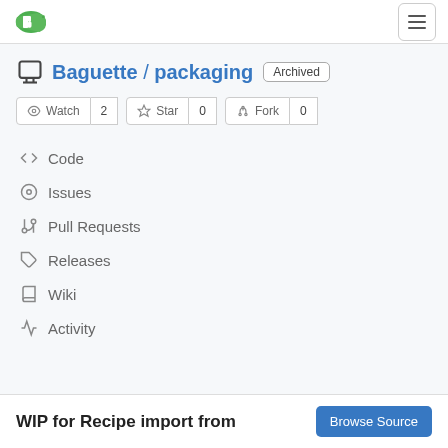[Figure (logo): Gitea/Baguette green logo icon at top left]
Baguette / packaging  Archived
Watch 2  Star 0  Fork 0
Code
Issues
Pull Requests
Releases
Wiki
Activity
WIP for Recipe import from
Browse Source